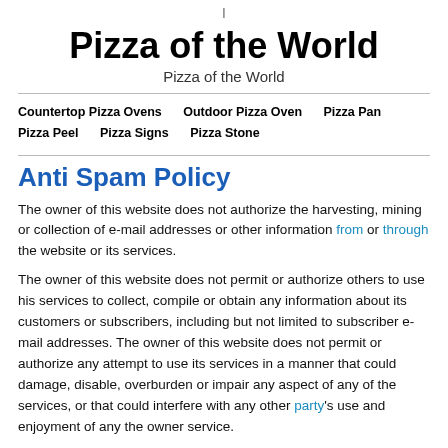|
Pizza of the World
Pizza of the World
Countertop Pizza Ovens   Outdoor Pizza Oven   Pizza Pan   Pizza Peel   Pizza Signs   Pizza Stone
Anti Spam Policy
The owner of this website does not authorize the harvesting, mining or collection of e-mail addresses or other information from or through the website or its services.
The owner of this website does not permit or authorize others to use his services to collect, compile or obtain any information about its customers or subscribers, including but not limited to subscriber e-mail addresses. The owner of this website does not permit or authorize any attempt to use its services in a manner that could damage, disable, overburden or impair any aspect of any of the services, or that could interfere with any other party's use and enjoyment of any the owner service.